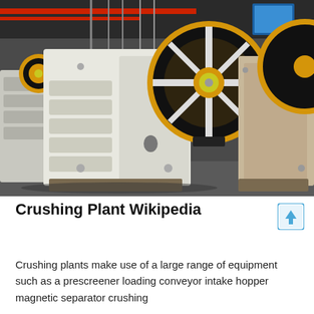[Figure (photo): Industrial jaw crusher machines on a factory floor. Large white-painted crushing equipment with prominent black and yellow flywheel pulleys visible. Industrial warehouse/factory setting with red overhead cranes in background.]
Crushing Plant Wikipedia
Crushing plants make use of a large range of equipment such as a prescreener loading conveyor intake hopper magnetic separator crushing